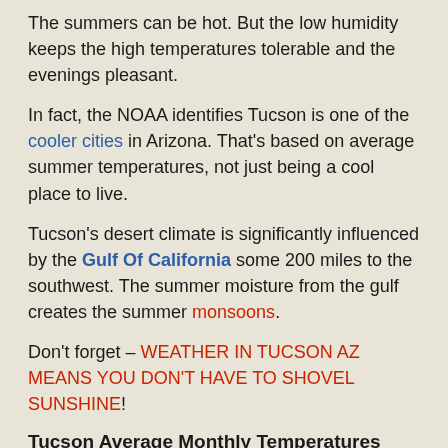The summers can be hot. But the low humidity keeps the high temperatures tolerable and the evenings pleasant.
In fact, the NOAA identifies Tucson is one of the cooler cities in Arizona. That's based on average summer temperatures, not just being a cool place to live.
Tucson's desert climate is significantly influenced by the Gulf Of California some 200 miles to the southwest. The summer moisture from the gulf creates the summer monsoons.
Don't forget – WEATHER IN TUCSON AZ MEANS YOU DON'T HAVE TO SHOVEL SUNSHINE!
Tucson Average Monthly Temperatures
| Monthly | Avg. Max. Temp °F | Avg. Min. °F | Ave Rain Fall |
| --- | --- | --- | --- |